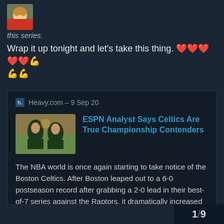[Figure (photo): User avatar: small photo of a child with mouth open, at a sports event]
this series.
Wrap it up tonight and let's take this thing. ❤️❤️❤️❤️❤️💪💪💪
Heavy.com – 9 Sep 20
[Figure (photo): Two basketball players in green Celtics uniforms during a game]
ESPN Analyst Says Celtics Are True Championship Contenders
The NBA world is once again starting to take notice of the Boston Celtics. After Boston leaped out to a 6-0 postseason record after grabbing a 2-0 lead in their best-of-7 series against the Raptors, it dramatically increased its chances of winning...
1 / 9